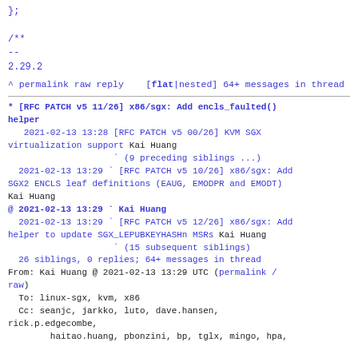};

/**
--
2.29.2
^ permalink raw reply   [flat|nested] 64+ messages in thread
* [RFC PATCH v5 11/26] x86/sgx: Add encls_faulted() helper
   2021-02-13 13:28 [RFC PATCH v5 00/26] KVM SGX virtualization support Kai Huang
                    ` (9 preceding siblings ...)
   2021-02-13 13:29 ` [RFC PATCH v5 10/26] x86/sgx: Add SGX2 ENCLS leaf definitions (EAUG, EMODPR and EMODT) Kai Huang
@ 2021-02-13 13:29 ` Kai Huang
   2021-02-13 13:29 ` [RFC PATCH v5 12/26] x86/sgx: Add helper to update SGX_LEPUBKEYHASHn MSRs Kai Huang
                    ` (15 subsequent siblings)
   26 siblings, 0 replies; 64+ messages in thread
From: Kai Huang @ 2021-02-13 13:29 UTC (permalink / raw)
To: linux-sgx, kvm, x86
Cc: seanjc, jarkko, luto, dave.hansen, rick.p.edgecombe,
        haitao.huang, pbonzini, bp, tglx, mingo, hpa,